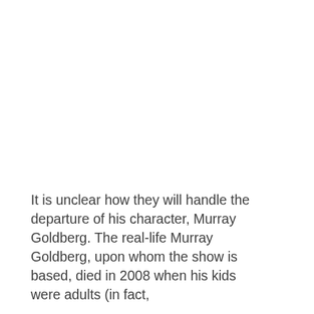It is unclear how they will handle the departure of his character, Murray Goldberg. The real-life Murray Goldberg, upon whom the show is based, died in 2008 when his kids were adults (in fact,